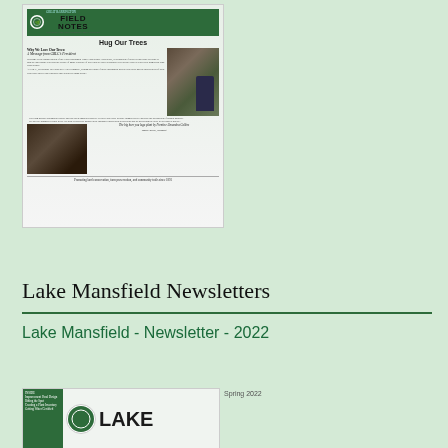[Figure (screenshot): Thumbnail image of a newsletter titled 'Field Notes' showing a 'Hug Our Trees' issue with photos of trees and a person hugging a large tree trunk, and a big tree bark close-up photo below]
View All
Lake Mansfield Newsletters
Lake Mansfield - Newsletter - 2022
[Figure (screenshot): Thumbnail of Lake Mansfield newsletter showing the beginning of a newsletter with sidebar and large 'LAKE' text in bold]